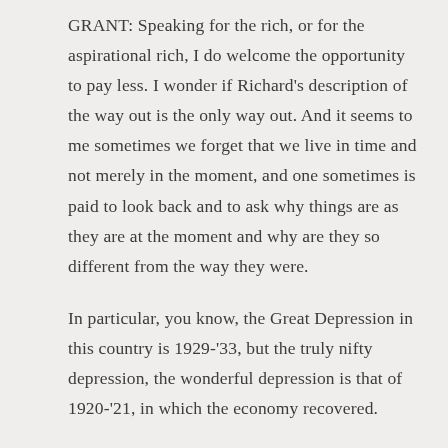GRANT: Speaking for the rich, or for the aspirational rich, I do welcome the opportunity to pay less. I wonder if Richard's description of the way out is the only way out. And it seems to me sometimes we forget that we live in time and not merely in the moment, and one sometimes is paid to look back and to ask why things are as they are at the moment and why are they so different from the way they were.
In particular, you know, the Great Depression in this country is 1929-'33, but the truly nifty depression, the wonderful depression is that of 1920-'21, in which the economy recovered.
Now, economies do recover from depressions, but to